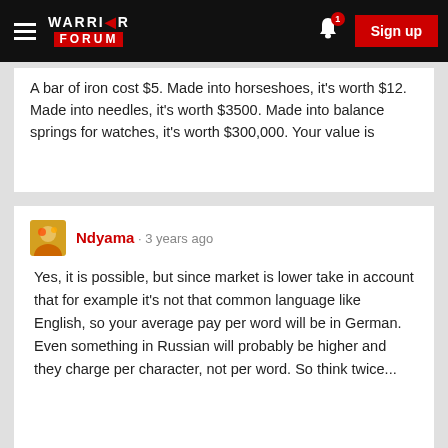Warrior Forum - Navigation bar with Sign up button
A bar of iron cost $5. Made into horseshoes, it's worth $12. Made into needles, it's worth $3500. Made into balance springs for watches, it's worth $300,000. Your value is
Ndyama · 3 years ago
Yes, it is possible, but since market is lower take in account that for example it's not that common language like English, so your average pay per word will be in German. Even something in Russian will probably be higher and they charge per character, not per word. So think twice...